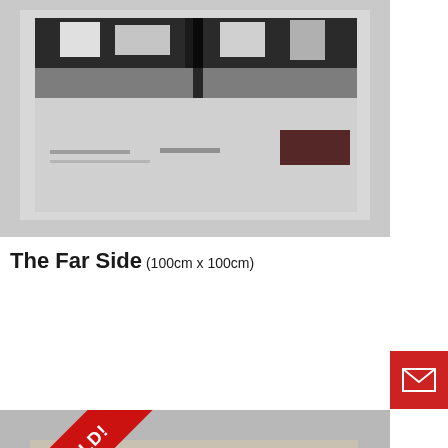[Figure (photo): Abstract black and white artwork painting, framed with light grey matting. The painting shows cityscape-like shapes in dark and white tones.]
The Far Side (100cm x 100cm)
[Figure (photo): Abstract grey/beige artwork painting with a SOLD! red diagonal banner in the top-left corner. The painting shows textured abstract shapes.]